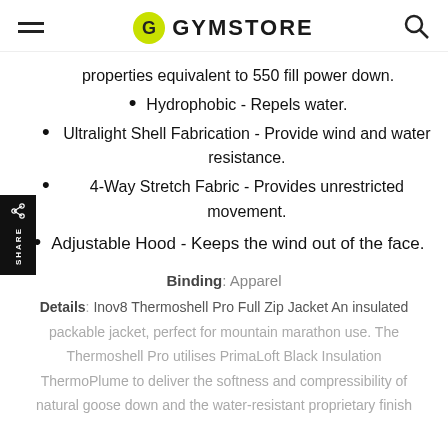GYMSTORE
properties equivalent to 550 fill power down.
Hydrophobic - Repels water.
Ultralight Shell Fabrication - Provide wind and water resistance.
4-Way Stretch Fabric - Provides unrestricted movement.
Adjustable Hood - Keeps the wind out of the face.
Binding: Apparel
Details: Inov8 Thermoshell Pro Full Zip Jacket An insulated packable jacket, perfect for mountain marathon use. The Thermoshell Pro utilises PrimaLoft Black Insulation ThermoPlume to deliver the softness and compressibility of natural goose down and the water-resistant proprietary finish